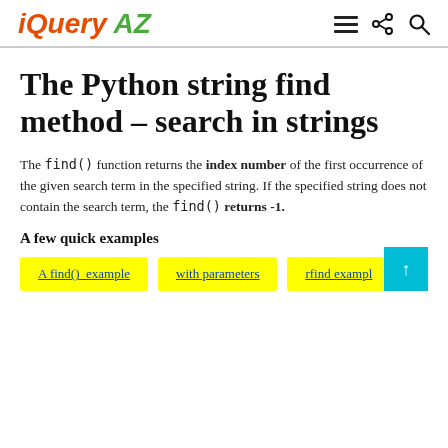jQuery AZ
The Python string find method – search in strings
The find() function returns the index number of the first occurrence of the given search term in the specified string. If the specified string does not contain the search term, the find() returns -1.
A few quick examples
A find() example
with parameters
rfind example